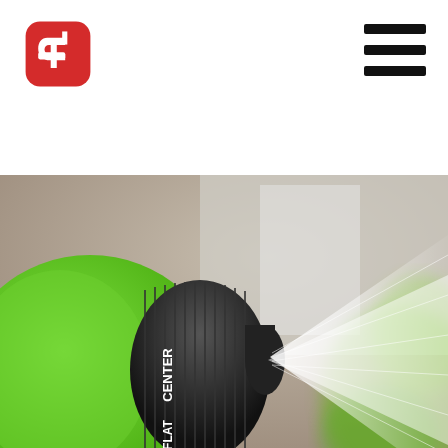[Figure (logo): Red rounded square logo with a white stylized 'e' or reversed 'B' shape inside]
[Figure (other): Hamburger menu icon — three thick horizontal black bars]
[Figure (photo): Close-up photograph of a green garden hose nozzle with a black adjustable dial labeled CENTER and FLAT, spraying a wide fan of water mist to the right, with blurred green plants in the background]